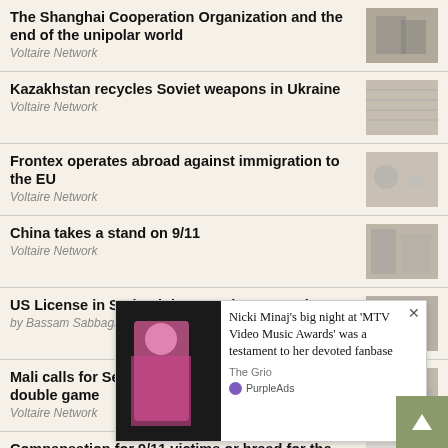The Shanghai Cooperation Organization and the end of the unipolar world
Voltaire Network
Kazakhstan recycles Soviet weapons in Ukraine
Voltaire Network
Frontex operates abroad against immigration to the EU
Voltaire Network
China takes a stand on 9/11
Voltaire Network
US License in Syria Violates Syrian Sovereignty
by Bassam Sabbagh, Voltaire Network
Mali calls for Security Council meeting on French double game
Voltaire Network
Compensation for 9/11 victims or bread for the Afghans?
Voltaire Network
Khanists support expulsion of Israeli pro-Arabs and Arabs
Voltaire Network
Dec... Zap...
Volta...
Declaration about the decolonization of Russia
[Figure (infographic): PurpleAds advertisement overlay showing Nicki Minaj image with text: Nicki Minaj's big night at 'MTV Video Music Awards' was a testament to her devoted fanbase — The Grio]